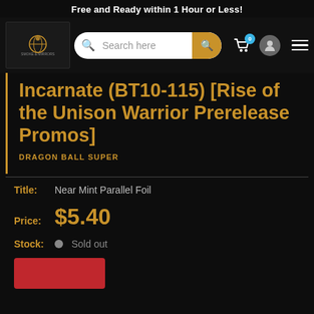Free and Ready within 1 Hour or Less!
[Figure (logo): Smoke & Mirrors logo with golden compass/globe icon on dark background]
Search here
Incarnate (BT10-115) [Rise of the Unison Warrior Prerelease Promos]
DRAGON BALL SUPER
Title: Near Mint Parallel Foil
Price: $5.40
Stock: Sold out